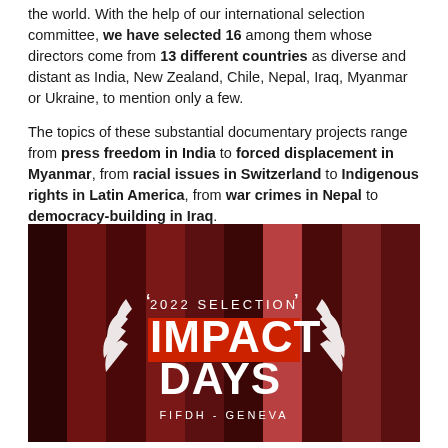the world. With the help of our international selection committee, we have selected 16 among them whose directors come from 13 different countries as diverse and distant as India, New Zealand, Chile, Nepal, Iraq, Myanmar or Ukraine, to mention only a few.

The topics of these substantial documentary projects range from press freedom in India to forced displacement in Myanmar, from racial issues in Switzerland to Indigenous rights in Latin America, from war crimes in Nepal to democracy-building in Iraq.
[Figure (photo): Promotional image for FIFDH Geneva Impact Days 2022 Selection. A dark red-tinted collage of vertical photo strips showing various people, with white text overlay reading '2022 SELECTION IMPACT DAYS FIFDH - GENEVA' and decorative wing/laurel elements.]